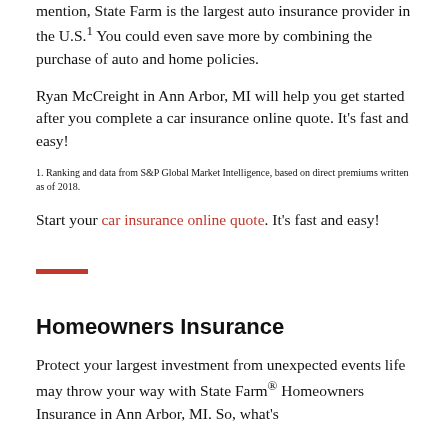mention, State Farm is the largest auto insurance provider in the U.S.¹ You could even save more by combining the purchase of auto and home policies.
Ryan McCreight in Ann Arbor, MI will help you get started after you complete a car insurance online quote. It's fast and easy!
1. Ranking and data from S&P Global Market Intelligence, based on direct premiums written as of 2018.
Start your car insurance online quote. It's fast and easy!
[Figure (other): Red horizontal rule / divider line]
Homeowners Insurance
Protect your largest investment from unexpected events life may throw your way with State Farm® Homeowners Insurance in Ann Arbor, MI. So, what's